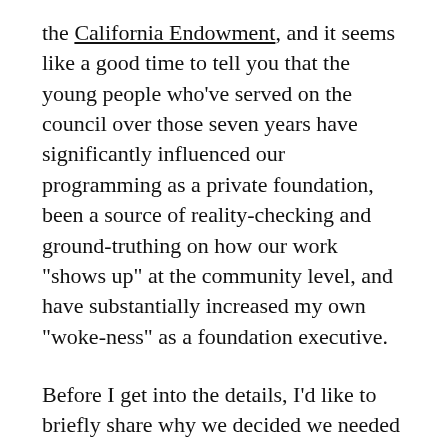the California Endowment, and it seems like a good time to tell you that the young people who've served on the council over those seven years have significantly influenced our programming as a private foundation, been a source of reality-checking and ground-truthing on how our work "shows up" at the community level, and have substantially increased my own "woke-ness" as a foundation executive.
Before I get into the details, I'd like to briefly share why we decided we needed a President's Youth Council and how it works: In 2011, our foundation embarked on a ten-year, statewide Building Healthy